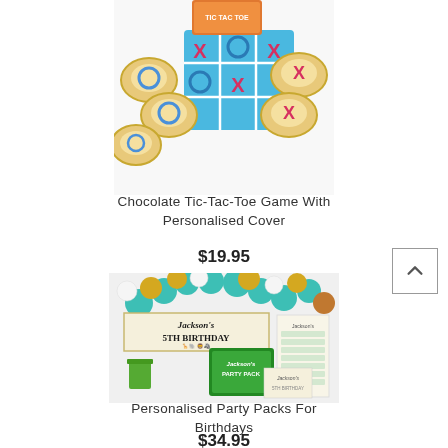[Figure (photo): Chocolate Tic-Tac-Toe game with circular chocolate pieces showing X and O on a blue grid mat, with a colorful cover box in the background]
Chocolate Tic-Tac-Toe Game With Personalised Cover
$19.95
[Figure (photo): Personalised birthday party pack for Jackson's 5th Birthday featuring teal and gold balloon garland, banner, party pack box, sticker sheets, and various party supplies with safari/animal theme]
Personalised Party Packs For Birthdays
$34.95